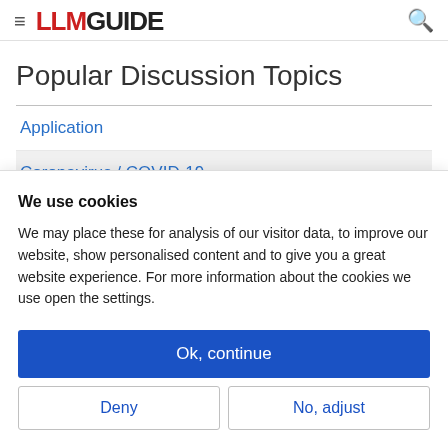LLM GUIDE
Popular Discussion Topics
Application
Coronavirus / COVID-19
TOEFL / IELTS
We use cookies
We may place these for analysis of our visitor data, to improve our website, show personalised content and to give you a great website experience. For more information about the cookies we use open the settings.
Ok, continue
Deny
No, adjust